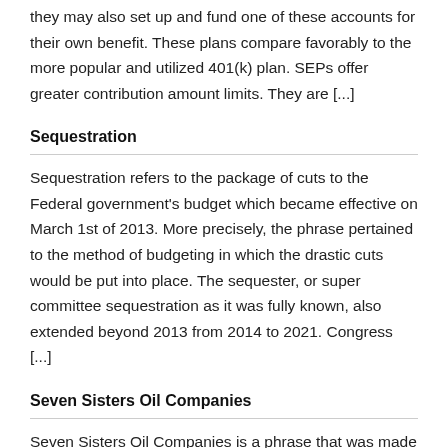they may also set up and fund one of these accounts for their own benefit. These plans compare favorably to the more popular and utilized 401(k) plan. SEPs offer greater contribution amount limits. They are [...]
Sequestration
Sequestration refers to the package of cuts to the Federal government's budget which became effective on March 1st of 2013. More precisely, the phrase pertained to the method of budgeting in which the drastic cuts would be put into place. The sequester, or super committee sequestration as it was fully known, also extended beyond 2013 from 2014 to 2021. Congress [...]
Seven Sisters Oil Companies
Seven Sisters Oil Companies is a phrase that was made famous by Italian state oil Company ENI Chief and Italian businessmen Enrico Mattei back in the 1950s. Mattei used this phrase to describe what he believed to be the domination of...